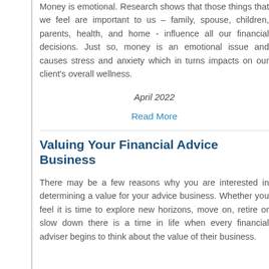Money is emotional. Research shows that those things that we feel are important to us – family, spouse, children, parents, health, and home - influence all our financial decisions. Just so, money is an emotional issue and causes stress and anxiety which in turns impacts on our client's overall wellness.
April 2022
Read More
Valuing Your Financial Advice Business
There may be a few reasons why you are interested in determining a value for your advice business. Whether you feel it is time to explore new horizons, move on, retire or slow down there is a time in life when every financial adviser begins to think about the value of their business.